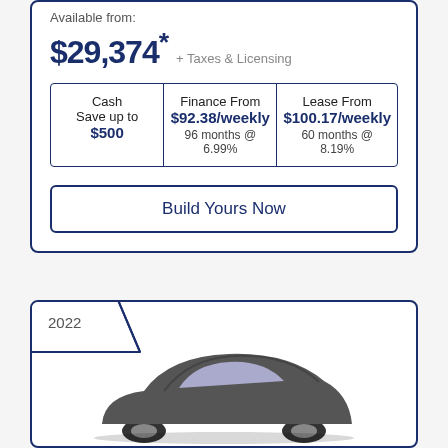Available from:
$29,374* + Taxes & Licensing
| Cash | Finance From | Lease From |
| --- | --- | --- |
| Save up to $500 | $92.38/weekly
96 months @ 6.99% | $100.17/weekly
60 months @ 8.19% |
Build Yours Now
2022
[Figure (photo): Partial view of a dark-colored car (SUV or hatchback) from the front-left angle, shown at the bottom of a card with year tab '2022'.]